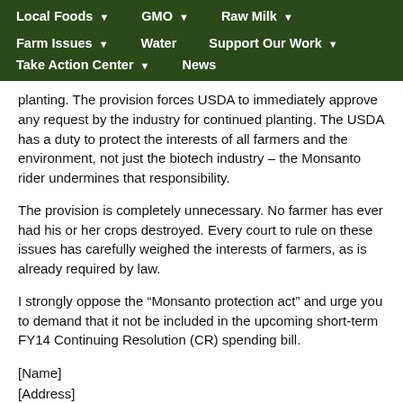Local Foods ▾   GMO ▾   Raw Milk ▾   Farm Issues ▾   Water   Support Our Work ▾   Take Action Center ▾   News
planting. The provision forces USDA to immediately approve any request by the industry for continued planting. The USDA has a duty to protect the interests of all farmers and the environment, not just the biotech industry – the Monsanto rider undermines that responsibility.
The provision is completely unnecessary. No farmer has ever had his or her crops destroyed. Every court to rule on these issues has carefully weighed the interests of farmers, as is already required by law.
I strongly oppose the “Monsanto protection act” and urge you to demand that it not be included in the upcoming short-term FY14 Continuing Resolution (CR) spending bill.
[Name]
[Address]
September 16, 2013